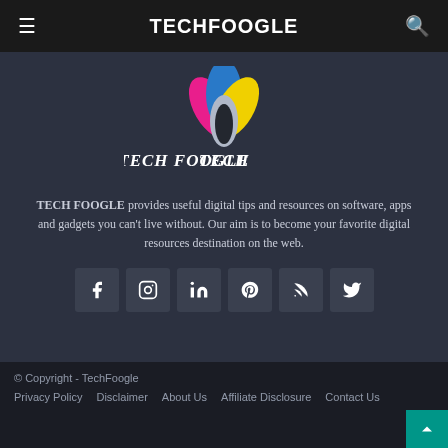TECHFOOGLE
[Figure (logo): TechFoogle logo with colorful leaf/butterfly icon and stylized TECH FOOGLE text]
TECH FOOGLE provides useful digital tips and resources on software, apps and gadgets you can't live without. Our aim is to become your favorite digital resources destination on the web.
[Figure (infographic): Social media icon buttons: Facebook, Instagram, LinkedIn, Pinterest, RSS, Twitter]
© Copyright - TechFoogle
Privacy Policy   Disclaimer   About Us   Affiliate Disclosure   Contact Us